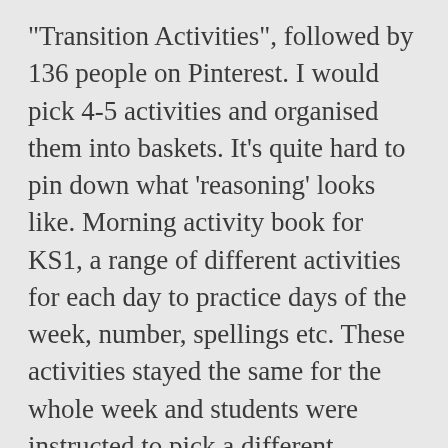"Transition Activities", followed by 136 people on Pinterest. I would pick 4-5 activities and organised them into baskets. It's quite hard to pin down what 'reasoning' looks like. Morning activity book for KS1, a range of different activities for each day to practice days of the week, number, spellings etc. These activities stayed the same for the whole week and students were instructed to pick a different activity each morning. These are simple but challenging tasks that cover a range of areas within the National Curriculum. Here at the mum educates we provide Free Reception, Year 1, Year 2 and Year 3 resources – Download Year 1 Free worksheets and resources- Free articles and lesson plans, as a fun way to recap